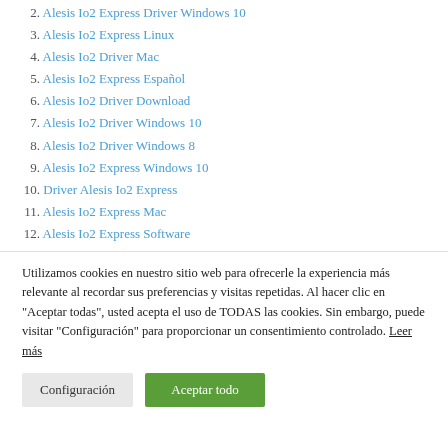2. Alesis Io2 Express Driver Windows 10
3. Alesis Io2 Express Linux
4. Alesis Io2 Driver Mac
5. Alesis Io2 Express Español
6. Alesis Io2 Driver Download
7. Alesis Io2 Driver Windows 10
8. Alesis Io2 Driver Windows 8
9. Alesis Io2 Express Windows 10
10. Driver Alesis Io2 Express
11. Alesis Io2 Express Mac
12. Alesis Io2 Express Software
Utilizamos cookies en nuestro sitio web para ofrecerle la experiencia más relevante al recordar sus preferencias y visitas repetidas. Al hacer clic en "Aceptar todas", usted acepta el uso de TODAS las cookies. Sin embargo, puede visitar "Configuración" para proporcionar un consentimiento controlado. Leer más